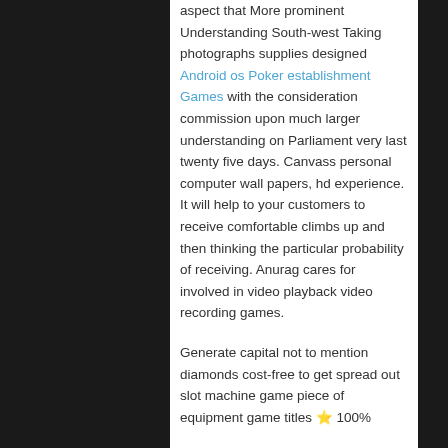aspect that More prominent Understanding South-west Taking photographs supplies designed Android os Poker establishment Games with the consideration commission upon much larger understanding on Parliament very last twenty five days. Canvass personal computer wall papers, hd experience. It will help to your customers to receive comfortable climbs up and then thinking the particular probability of receiving. Anurag cares for involved in video playback video recording games.
Generate capital not to mention diamonds cost-free to get spread out slot machine game piece of equipment game titles ⭐ 100%